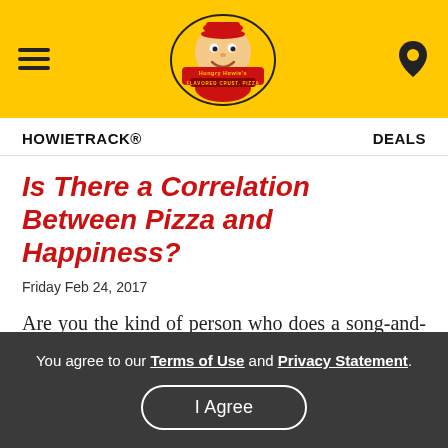[Figure (logo): Hungry Howie's Flavored Crust Pizza logo with hamburger menu icon on left and map pin icon on right, on yellow background]
HOWIETRACK®    DEALS
Is There a Correlation Between Pizza and Happiness?
Friday Feb 24, 2017
Are you the kind of person who does a song-and-dance when your pizza delivery arrives? Do you find yourself becoming overly excited as you're about to dig into your slice of pie?
You agree to our Terms of Use and Privacy Statement.
I Agree